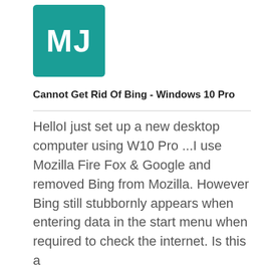[Figure (illustration): Teal/green square avatar with white bold letters MJ]
Cannot Get Rid Of Bing - Windows 10 Pro
HelloI just set up a new desktop computer using W10 Pro ...I use Mozilla Fire Fox & Google and removed Bing from Mozilla. However Bing still stubbornly appears when entering data in the start menu when required to check the internet. Is this a